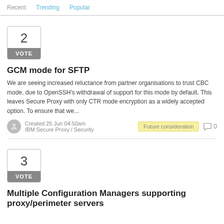Recent  Trending  Popular
[Figure (other): Vote box with number 2 and VOTE label]
GCM mode for SFTP
We are seeing increased reluctance from partner organisations to trust CBC mode, due to OpenSSH's withdrawal of support for this mode by default. This leaves Secure Proxy with only CTR mode encryption as a widely accepted option. To ensure that we...
Created 25 Jun 04:50am
IBM Secure Proxy / Security
Future consideration  0
[Figure (other): Vote box with number 3 and VOTE label]
Multiple Configuration Managers supporting proxy/perimeter servers